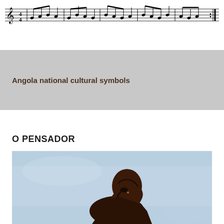[Figure (other): Musical score notation — a line of sheet music with notes on a staff]
Angola national cultural symbols
O PENSADOR
[Figure (photo): Photograph of O Pensador (The Thinker) — a dark bronze-like sculpture of a seated figure in profile, set against a light blue background. The figure's head is bowed in a contemplative pose.]